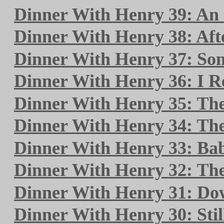Dinner With Henry 39: An Ordinary
Dinner With Henry 38: After the Rai
Dinner With Henry 37: Somewhere O
Dinner With Henry 36: I Read the Ne
Dinner With Henry 35: The Door
Dinner With Henry 34: The Gatherin
Dinner With Henry 33: Baby Talk
Dinner With Henry 32: The Big Noth
Dinner With Henry 31: Down On the
Dinner With Henry 30: Still Up on th
Dinner With Henry 29: Up On The R